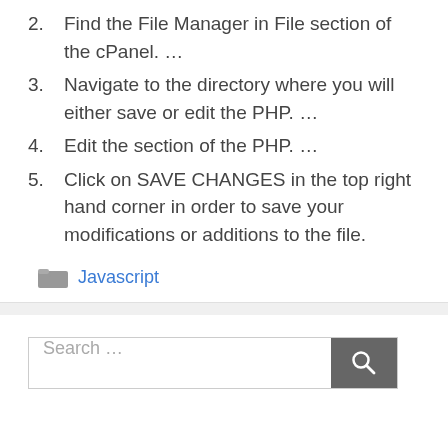2. Find the File Manager in File section of the cPanel. …
3. Navigate to the directory where you will either save or edit the PHP. …
4. Edit the section of the PHP. …
5. Click on SAVE CHANGES in the top right hand corner in order to save your modifications or additions to the file.
Javascript
Search …